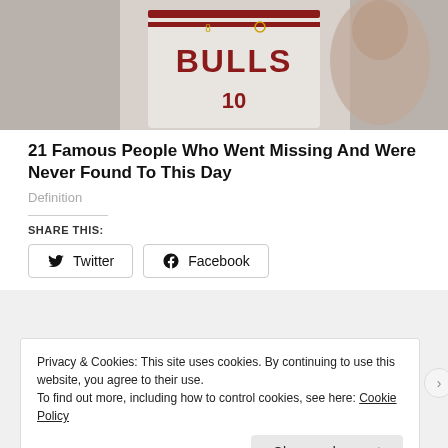[Figure (photo): Person wearing a Chicago Bulls basketball jersey]
21 Famous People Who Went Missing And Were Never Found To This Day
Definition
SHARE THIS:
Twitter
Facebook
Privacy & Cookies: This site uses cookies. By continuing to use this website, you agree to their use.
To find out more, including how to control cookies, see here: Cookie Policy
Close and accept